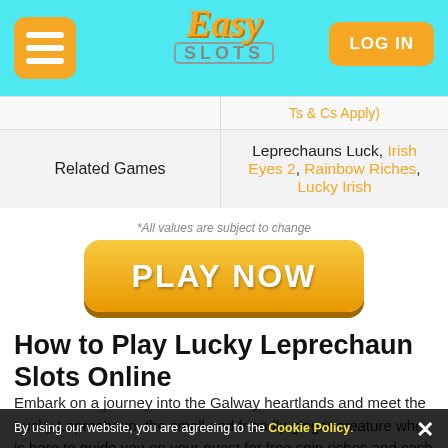Easy Slots — LOG IN
|  |  |
| --- | --- |
|  | Ts & Cs Apply) |
| Related Games | Leprechauns Luck, Irish Eyes 2, Rainbow Riches, Lucky Irish |
*All values are subject to change
[Figure (other): PLAY NOW orange button]
How to Play Lucky Leprechaun Slots Online
Embark on a journey into the Galway heartlands and meet the Lucky Leprechaun, the small and friendly ginger creature who is here to guide you on your quest for free spin riches and cash rewards. He can't tell how to play,
By using our website, you are agreeing to the Cookie Policy.